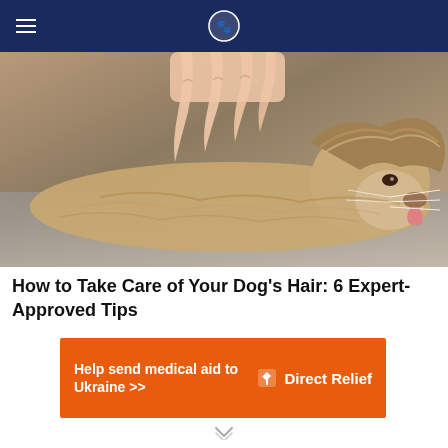≡ [site logo]
[Figure (photo): Close-up photo of a small fluffy dog (appears to be a Pomeranian or similar breed) lying on its side while a person's hands groom or check its fur/ears. The dog has brown and white fur and its tongue is slightly out.]
How to Take Care of Your Dog's Hair: 6 Expert-Approved Tips
[Figure (other): Orange advertisement banner for Direct Relief reading 'Help send medical aid to Ukraine >>' with the Direct Relief logo on the right side.]